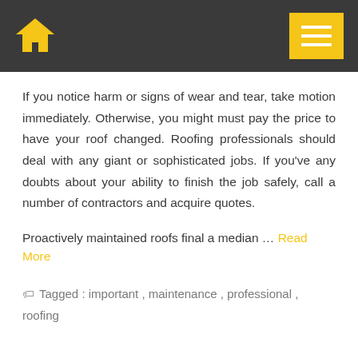[Home icon] [Menu button]
If you notice harm or signs of wear and tear, take motion immediately. Otherwise, you might must pay the price to have your roof changed. Roofing professionals should deal with any giant or sophisticated jobs. If you've any doubts about your ability to finish the job safely, call a number of contractors and acquire quotes.
Proactively maintained roofs final a median … Read More
Tagged : important , maintenance , professional , roofing